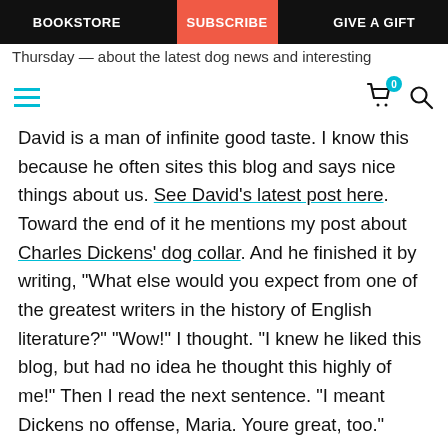BOOKSTORE | SUBSCRIBE | GIVE A GIFT
Thursday — about the latest dog news and interesting
David is a man of infinite good taste. I know this because he often sites this blog and says nice things about us. See David's latest post here. Toward the end of it he mentions my post about Charles Dickens' dog collar. And he finished it by writing, "What else would you expect from one of the greatest writers in the history of English literature?" "Wow!" I thought. "I knew he liked this blog, but had no idea he thought this highly of me!" Then I read the next sentence. "I meant Dickens no offense, Maria. Youre great, too."